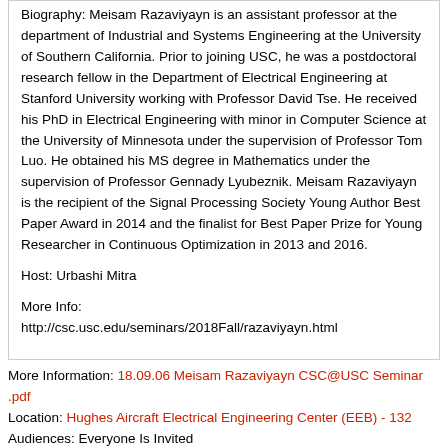Biography: Meisam Razaviyayn is an assistant professor at the department of Industrial and Systems Engineering at the University of Southern California. Prior to joining USC, he was a postdoctoral research fellow in the Department of Electrical Engineering at Stanford University working with Professor David Tse. He received his PhD in Electrical Engineering with minor in Computer Science at the University of Minnesota under the supervision of Professor Tom Luo. He obtained his MS degree in Mathematics under the supervision of Professor Gennady Lyubeznik. Meisam Razaviyayn is the recipient of the Signal Processing Society Young Author Best Paper Award in 2014 and the finalist for Best Paper Prize for Young Researcher in Continuous Optimization in 2013 and 2016.
Host: Urbashi Mitra
More Info: http://csc.usc.edu/seminars/2018Fall/razaviyayn.html
More Information: 18.09.06 Meisam Razaviyayn CSC@USC Seminar.pdf
Location: Hughes Aircraft Electrical Engineering Center (EEB) - 132
Audiences: Everyone Is Invited
Contact: Brienne Moore